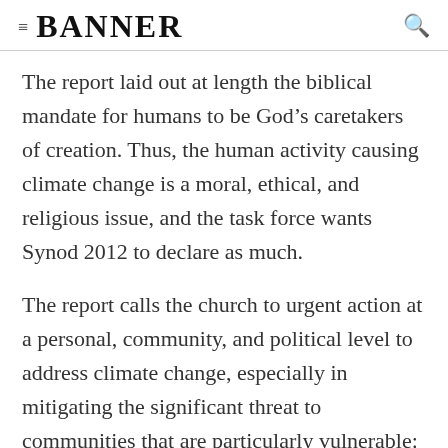≡ BANNER 🔍
The report laid out at length the biblical mandate for humans to be God's caretakers of creation. Thus, the human activity causing climate change is a moral, ethical, and religious issue, and the task force wants Synod 2012 to declare as much.
The report calls the church to urgent action at a personal, community, and political level to address climate change, especially in mitigating the significant threat to communities that are particularly vulnerable: countries in low-lying areas